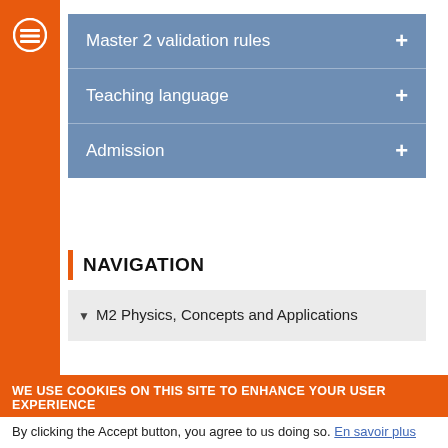[Figure (logo): Orange sidebar with white hamburger/menu icon (three horizontal lines with circle) at top left]
Master 2 validation rules +
Teaching language +
Admission +
NAVIGATION
M2 Physics, Concepts and Applications
WE USE COOKIES ON THIS SITE TO ENHANCE YOUR USER EXPERIENCE
By clicking the Accept button, you agree to us doing so. En savoir plus